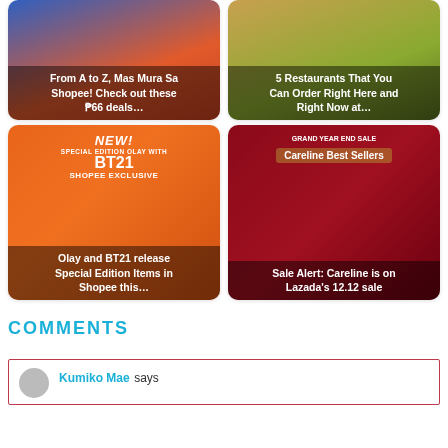[Figure (photo): Cropped top card left: From A to Z, Mas Mura Sa Shopee! Check out these ₱66 deals…]
[Figure (photo): Cropped top card right: 5 Restaurants That You Can Order Right Here and Right Now at…]
[Figure (photo): Full card: Olay and BT21 release Special Edition Items in Shopee this…]
[Figure (photo): Full card: Sale Alert: Careline is on Lazada's 12.12 sale]
COMMENTS
Kumiko Mae says